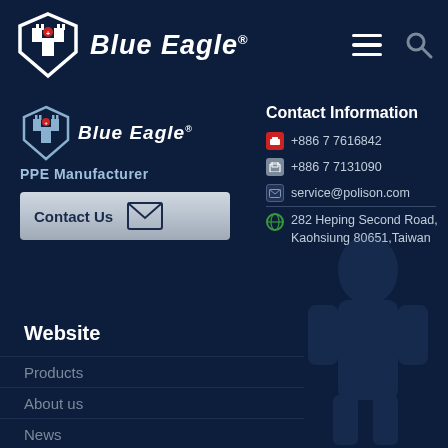Blue Eagle® — PPE Manufacturer — Navigation header with hamburger menu and search icon
[Figure (logo): Blue Eagle logo with shield/eagle icon and italic Blue Eagle® brand name in header]
[Figure (logo): Blue Eagle logo (smaller) with PPE Manufacturer tagline and Contact Us button]
Contact Information
+886 7 7616842
+886 7 7131090
service@polison.com
282 Heping Second Road, Kaohsiung 80651,Taiwan
Website
Products
About us
News
Tech@Video
Download